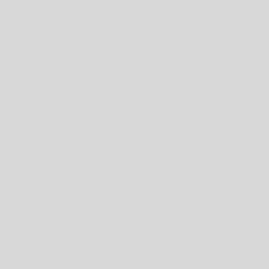| # | Date | Size | Compare | User |
| --- | --- | --- | --- | --- |
|  | 12-03 16:55:00 |  | ○ ○ to previous |  |
| 26 | 2008-07-07 04:28:18 | 4805 | ○ ○ to previous | localhost |
| 25 | 2008-01-01 21:27:25 | 4803 | ○ ○ to previous | AdamChli |
| 24 | 2007-12-29 02:05:23 | 4582 | ○ ○ to previous | AdamChli |
| 23 | 2007-12-29 00:09:08 | 3700 | ○ ○ to previous | AdamChli |
| 22 | 2007-12-27 04:12:52 | 3297 | ○ ○ to previous | MichaelO |
| 21 | 2007-12-16 19:08:10 | 3061 | ○ ○ to previous | RyanMiku |
| 20 | 2007-12-04 14:27:21 | 2836 | ○ ○ to previous | MichaelO |
| 19 | 2007- | 2725 | ○ ○ | JustinLeit |